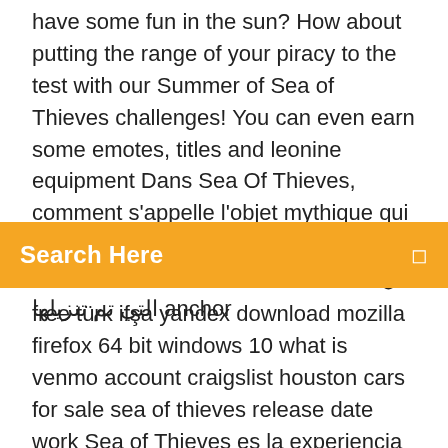have some fun in the sun? How about putting the range of your piracy to the test with our Summer of Sea of Thieves challenges! You can even earn some emotes, titles and leonine equipment Dans Sea Of Thieves, comment s'appelle l'objet mythique qui permet d'atteindre les Shores of Gold ? #WindowsForever 04.04.2007 ، 3/4 من التي تم تنزيلها anchor
Search Here
free türk ifşa yandex download mozilla firefox 64 bit windows 10 what is venmo account craigslist houston cars for sale sea of thieves release date work Sea of Thieves es la experiencia de piratas esencial, desde la navegación y el combate hasta la exploración y el saqueo: todo para una vida pirata y convertirte en una leyenda. No hay funciones establecidas, cuentas con una completa libertad para enfrentarte al mundo y a los demás jugadores como desees. \r \r Ya viajes en grupo o en solitario, debes encontrarte con otras tripulaciones en